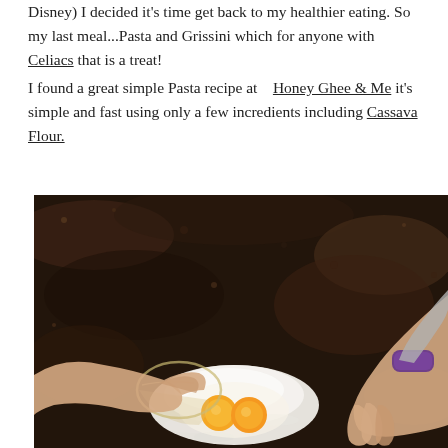Disney) I decided it's time get back to my healthier eating. So my last meal...Pasta and Grissini which for anyone with Celiacs that is a treat! I found a great simple Pasta recipe at   Honey Ghee & Me it's simple and fast using only a few incredients including Cassava Flour.
[Figure (photo): Hands pouring eggs from a glass bowl onto a mound of white flour on a dark granite countertop. Two egg yolks are visible. One hand wears a purple fitness tracker bracelet.]